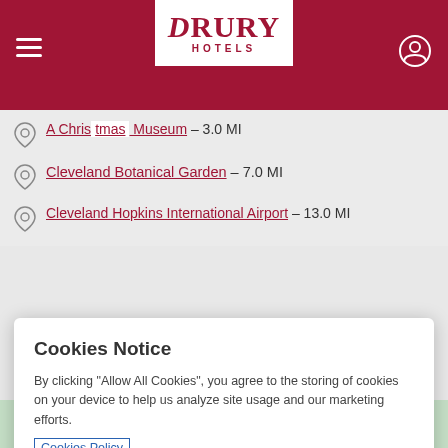[Figure (logo): Drury Hotels logo — white box on dark red header bar, with stylized 'DRURY' in serif and 'HOTELS' below in sans-serif caps]
A Christmas [Story House] Museum - 3.0 MI
Cleveland Botanical Garden - 7.0 MI
Cleveland Hopkins International Airport - 13.0 MI
Cookies Notice
By clicking "Allow All Cookies", you agree to the storing of cookies on your device to help us analyze site usage and our marketing efforts.
Cookies Policy
Allow All Cookies
Cookie Preferences